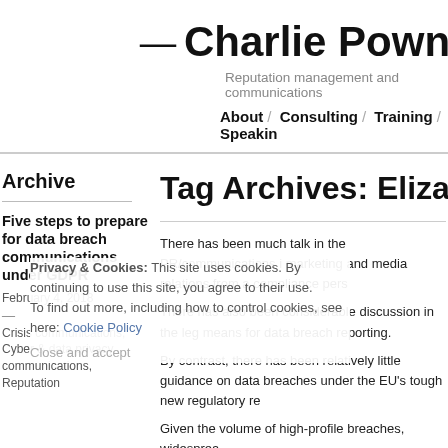— Charlie Powna
Reputation management and communications
About / Consulting / Training / Speaking
Archive
Tag Archives: Elizab
Five steps to prepare for data breach communications under GDPR
February 4, 2018
Crisis communications, Cyber & data privacy communications, Reputation
There has been much talk in the PR/communications i marketing and media relations from a compliance pers
There has also been considerable discussion in the leg means for data breach reporting.
By contrast, there has been relatively little guidance on data breaches under the EU's tough new regulatory re
Given the volume of high-profile breaches, widesprea